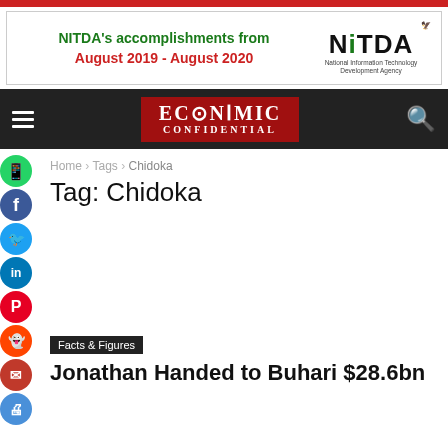[Figure (screenshot): NITDA advertisement banner: 'NITDA's accomplishments from August 2019 - August 2020' with NITDA logo (National Information Technology Development Agency)]
[Figure (logo): Economic Confidential logo on red background in dark navigation bar]
Home › Tags › Chidoka
Tag: Chidoka
Facts & Figures
Jonathan Handed to Buhari $28.6bn